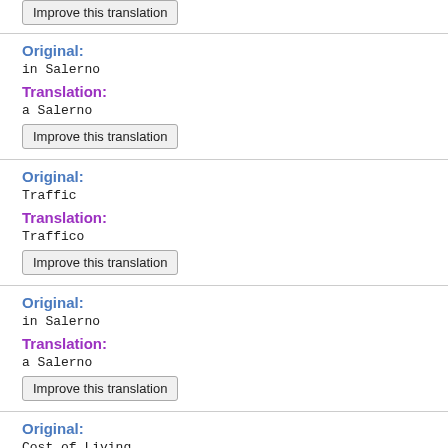Improve this translation
Original:
in Salerno
Translation:
a Salerno
Improve this translation
Original:
Traffic
Translation:
Traffico
Improve this translation
Original:
in Salerno
Translation:
a Salerno
Improve this translation
Original:
Cost of Living
Translation: